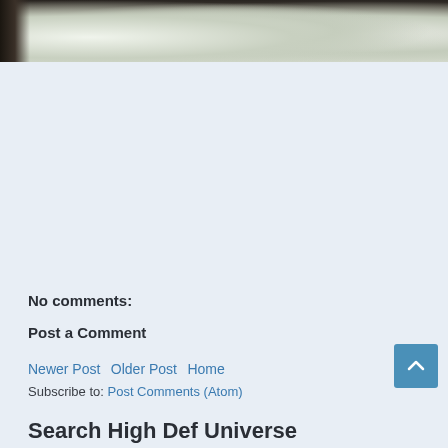[Figure (photo): Partial view of white flowers or decorative items against a dark background, cropped at the top of the page]
No comments:
Post a Comment
Newer Post Older Post Home
Subscribe to: Post Comments (Atom)
Search High Def Universe